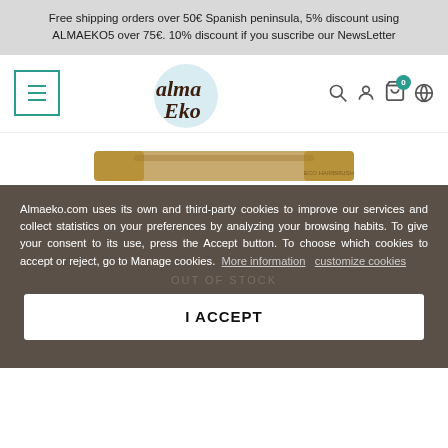Free shipping orders over 50€ Spanish peninsula, 5% discount using ALMAEKO5 over 75€. 10% discount if you suscribe our NewsLetter
[Figure (logo): Alma Eko logo with globe and handwritten text]
[Figure (photo): Bamboo product (brush/comb) partially visible at top]
Almaeko.com uses its own and third-party cookies to improve our services and collect statistics on your preferences by analyzing your browsing habits. To give your consent to its use, press the Accept button. To choose which cookies to accept or reject, go to Manage cookies. More information customize cookies
OUT OF STOCK
I ACCEPT